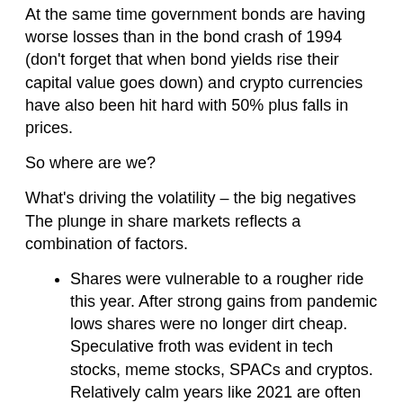At the same time government bonds are having worse losses than in the bond crash of 1994 (don't forget that when bond yields rise their capital value goes down) and crypto currencies have also been hit hard with 50% plus falls in prices.
So where are we?
What's driving the volatility – the big negatives The plunge in share markets reflects a combination of factors.
Shares were vulnerable to a rougher ride this year. After strong gains from pandemic lows shares were no longer dirt cheap. Speculative froth was evident in tech stocks, meme stocks, SPACs and cryptos. Relatively calm years like 2021 are often followed by a rough year.
Inflation continues to come in stronger than expected largely due to pandemic related supply disruptions and strong goods